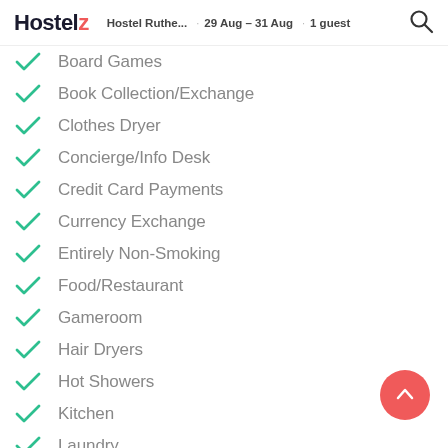Hostelz · Hostel Ruthe... · 29 Aug - 31 Aug · 1 guest
Board Games
Book Collection/Exchange
Clothes Dryer
Concierge/Info Desk
Credit Card Payments
Currency Exchange
Entirely Non-Smoking
Food/Restaurant
Gameroom
Hair Dryers
Hot Showers
Kitchen
Laundry